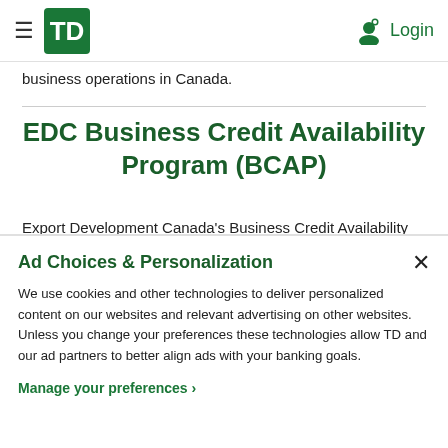TD Bank — Navigation header with hamburger menu, TD logo, and Login button
business operations in Canada.
EDC Business Credit Availability Program (BCAP)
Export Development Canada's Business Credit Availability
Ad Choices & Personalization
We use cookies and other technologies to deliver personalized content on our websites and relevant advertising on other websites. Unless you change your preferences these technologies allow TD and our ad partners to better align ads with your banking goals.
Manage your preferences ›